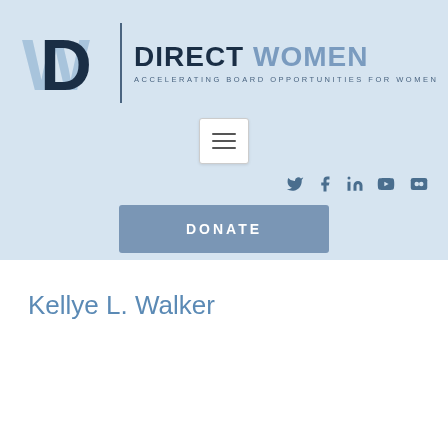[Figure (logo): Direct Women logo with W and D monogram, vertical divider, and text DIRECT WOMEN - ACCELERATING BOARD OPPORTUNITIES FOR WOMEN]
[Figure (other): Hamburger menu button (three horizontal lines)]
[Figure (other): Social media icons: Twitter, Facebook, LinkedIn, YouTube, Flickr]
[Figure (other): DONATE button in steel blue]
Kellye L. Walker